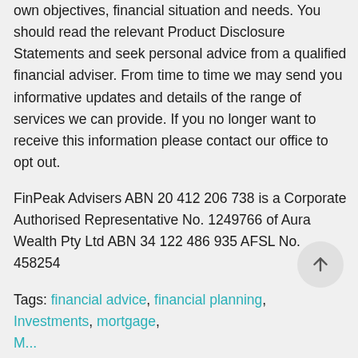own objectives, financial situation and needs. You should read the relevant Product Disclosure Statements and seek personal advice from a qualified financial adviser. From time to time we may send you informative updates and details of the range of services we can provide. If you no longer want to receive this information please contact our office to opt out.
FinPeak Advisers ABN 20 412 206 738 is a Corporate Authorised Representative No. 1249766 of Aura Wealth Pty Ltd ABN 34 122 486 935 AFSL No. 458254
Tags: financial advice, financial planning, Investments, mortgage,